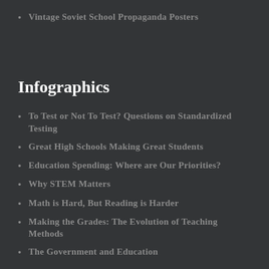Vintage Soviet School Propaganda Posters
Infographics
To Test or Not To Test? Questions on Standardized Testing
Great High Schools Making Great Students
Education Spending: Where are Our Priorities?
Why STEM Matters
Math is Hard, But Reading is Harder
Making the Grades: The Evolution of Teaching Methods
The Government and Education